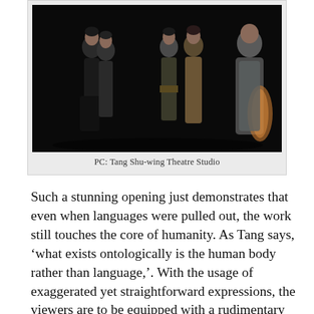[Figure (photo): Theatre performance photo showing five actors on a dark stage in period costumes. Three figures on the left, one in military uniform in the center, and a figure in a long coat on the right.]
PC: Tang Shu-wing Theatre Studio
Such a stunning opening just demonstrates that even when languages were pulled out, the work still touches the core of humanity. As Tang says, ‘what exists ontologically is the human body rather than language,’. With the usage of exaggerated yet straightforward expressions, the viewers are to be equipped with a rudimentary understanding of the plot and characters’ emotions.